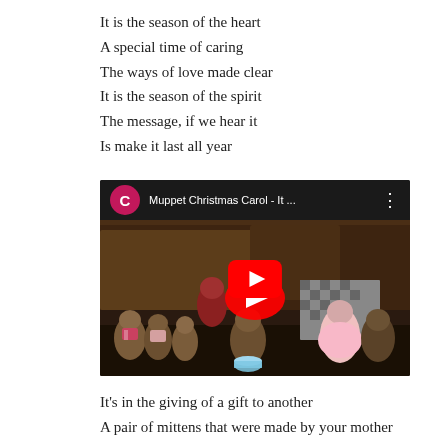It is the season of the heart
A special time of caring
The ways of love made clear
It is the season of the spirit
The message, if we hear it
Is make it last all year
[Figure (screenshot): Embedded YouTube video thumbnail showing Muppet Christmas Carol scene with pink play button overlay. Title bar reads 'Muppet Christmas Carol - It ...' with a pink/magenta circular avatar with letter C.]
It's in the giving of a gift to another
A pair of mittens that were made by your mother